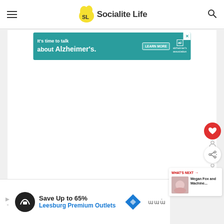Socialite Life
[Figure (screenshot): Advertisement banner: teal background reading 'It's time to talk about Alzheimer's.' with a LEARN MORE button and Alzheimer's Association logo, with a close X button]
[Figure (screenshot): Large white content area (article content not visible)]
[Figure (infographic): Floating red heart favorite button, floating white share button]
[Figure (screenshot): What's Next card: 'Megan Fox and Machine...' with thumbnail]
[Figure (screenshot): Bottom advertisement: 'Save Up to 65% Leesburg Premium Outlets' with black circular logo, blue diamond icon, and brand logo on right]